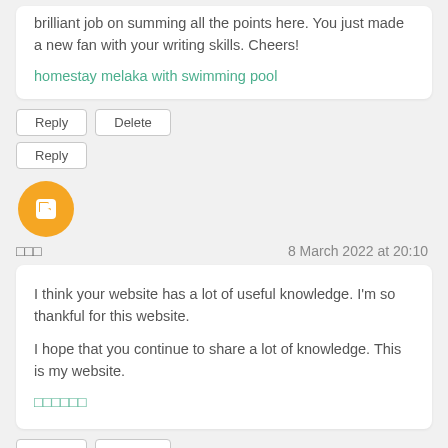brilliant job on summing all the points here. You just made a new fan with your writing skills. Cheers!
homestay melaka with swimming pool
Reply
Delete
Reply
[Figure (illustration): Orange circular Blogger avatar icon with white letter B symbol in the center]
□□□
8 March 2022 at 20:10
I think your website has a lot of useful knowledge. I'm so thankful for this website.
I hope that you continue to share a lot of knowledge. This is my website.
□□□□□□
Reply
Delete